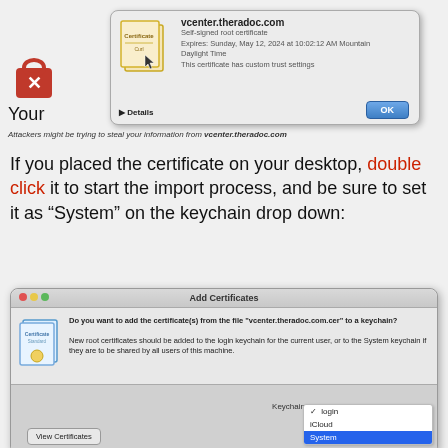[Figure (screenshot): macOS certificate dialog showing vcenter.theradoc.com self-signed root certificate with OK button, alongside a lock icon with red X overlay and a browser warning about attackers trying to steal information from vcenter.theradoc.com]
If you placed the certificate on your desktop, double click it to start the import process, and be sure to set it as “System” on the keychain drop down:
[Figure (screenshot): macOS Add Certificates dialog showing a prompt to add vcenter.theradoc.com.cer to a keychain, with View Certificates button, Keychain dropdown showing login, iCloud, and System (highlighted in blue) options]